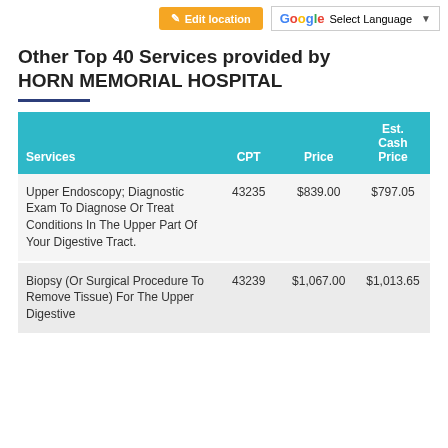Edit location | G Select Language
Other Top 40 Services provided by HORN MEMORIAL HOSPITAL
| Services | CPT | Price | Est. Cash Price |
| --- | --- | --- | --- |
| Upper Endoscopy; Diagnostic Exam To Diagnose Or Treat Conditions In The Upper Part Of Your Digestive Tract. | 43235 | $839.00 | $797.05 |
| Biopsy (Or Surgical Procedure To Remove Tissue) For The Upper Digestive | 43239 | $1,067.00 | $1,013.65 |